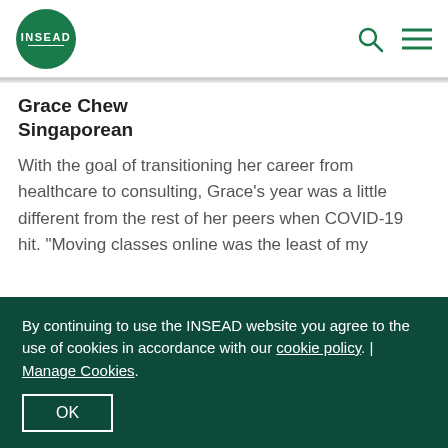[Figure (logo): INSEAD logo: green circle with white INSEAD text and decorative line]
INSEAD website header with logo, search icon, and menu icon
Grace Chew
Singaporean
With the goal of transitioning her career from healthcare to consulting, Grace's year was a little different from the rest of her peers when COVID-19 hit. "Moving classes online was the least of my worries. Being part of the medical community in Singapore, I was involved in the pandemic response effort."
By continuing to use the INSEAD website you agree to the use of cookies in accordance with our cookie policy. | Manage Cookies.
OK